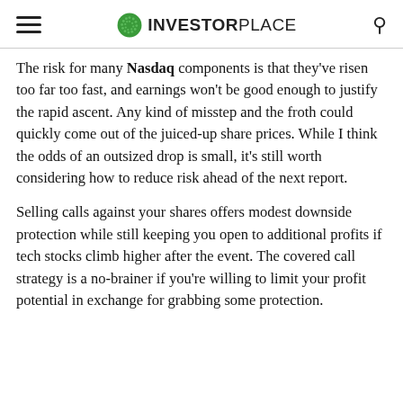INVESTORPLACE
The risk for many Nasdaq components is that they've risen too far too fast, and earnings won't be good enough to justify the rapid ascent. Any kind of misstep and the froth could quickly come out of the juiced-up share prices. While I think the odds of an outsized drop is small, it's still worth considering how to reduce risk ahead of the next report.
Selling calls against your shares offers modest downside protection while still keeping you open to additional profits if tech stocks climb higher after the event. The covered call strategy is a no-brainer if you're willing to limit your profit potential in exchange for grabbing some protection.